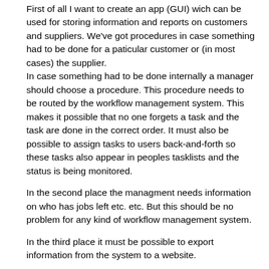First of all I want to create an app (GUI) wich can be used for storing information and reports on customers and suppliers. We've got procedures in case something had to be done for a paticular customer or (in most cases) the supplier. In case something had to be done internally a manager should choose a procedure. This procedure needs to be routed by the workflow management system. This makes it possible that no one forgets a task and the task are done in the correct order. It must also be possible to assign tasks to users back-and-forth so these tasks also appear in peoples tasklists and the status is being monitored.
In the second place the managment needs information on who has jobs left etc. etc. But this should be no problem for any kind of workflow management system.
In the third place it must be possible to export information from the system to a website.
The question is: wich is more suitable to easily create an